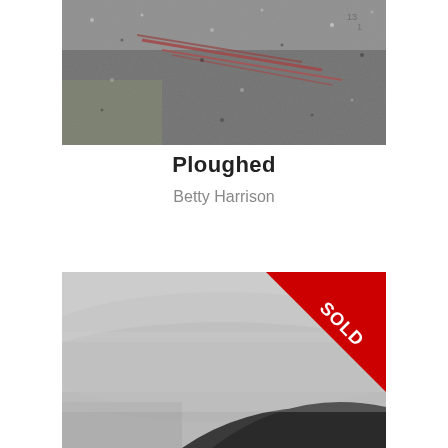[Figure (photo): Close-up photograph of a textured dark surface with reddish linear marks or grooves running diagonally, resembling ploughed or scratched material with white/grey speckled texture.]
Ploughed
Betty Harrison
[Figure (photo): Photograph of a misty landscape with a dark curved hill or mound in the lower right foreground against a pale grey foggy background. A red 'SOLD' banner appears in the top-right corner.]